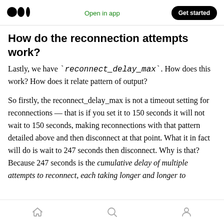Medium logo | Open in app | Get started
How do the reconnection attempts work?
Lastly, we have `reconnect_delay_max`. How does this work? How does it relate pattern of output?
So firstly, the reconnect_delay_max is not a timeout setting for reconnections — that is if you set it to 150 seconds it will not wait to 150 seconds, making reconnections with that pattern detailed above and then disconnect at that point. What it in fact will do is wait to 247 seconds then disconnect. Why is that? Because 247 seconds is the cumulative delay of multiple attempts to reconnect, each taking longer and longer to
Home | Search | Profile